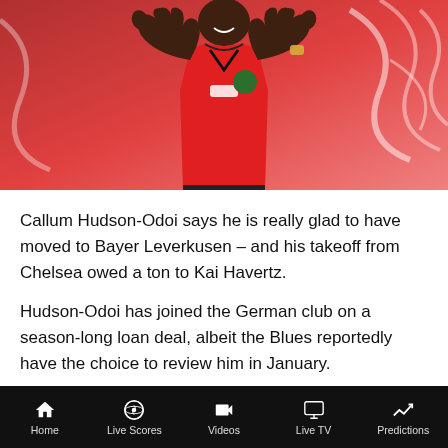[Figure (photo): Callum Hudson-Odoi in a red Bayer Leverkusen jersey, giving thumbs up gesture, standing against a red decorative background]
Callum Hudson-Odoi says he is really glad to have moved to Bayer Leverkusen – and his takeoff from Chelsea owed a ton to Kai Havertz.
Hudson-Odoi has joined the German club on a season-long loan deal, albeit the Blues reportedly have the choice to review him in January.
Home | Live Scores | Videos | Live TV | Predictions